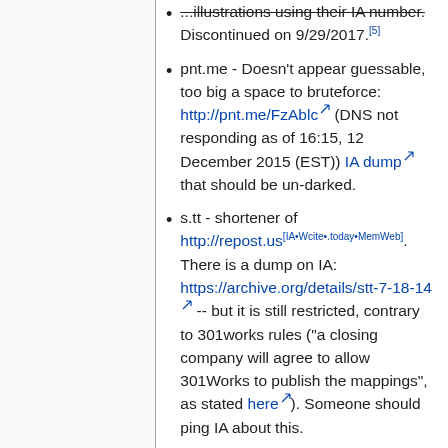Discontinued on 9/29/2017.[5]
pnt.me - Doesn't appear guessable, too big a space to bruteforce: http://pnt.me/FzAblc (DNS not responding as of 16:15, 12 December 2015 (EST)) IA dump that should be un-darked.
s.tt - shortener of http://repost.us [IA•Wcite•.today•MemWeb]. There is a dump on IA: https://archive.org/details/stt-7-18-14 -- but it is still restricted, contrary to 301works rules ("a closing company will agree to allow 301Works to publish the mappings", as stated here). Someone should ping IA about this.
urlbrief.com - supposedly co-operated with 301Works.org -- but the collection is empty, and DNS